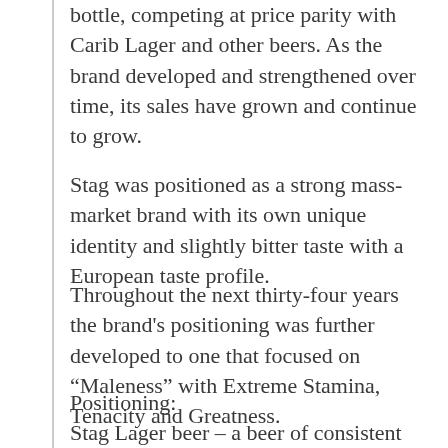bottle, competing at price parity with Carib Lager and other beers. As the brand developed and strengthened over time, its sales have grown and continue to grow.
Stag was positioned as a strong mass-market brand with its own unique identity and slightly bitter taste with a European taste profile.
Throughout the next thirty-four years the brand’s positioning was further developed to one that focused on “Maleness” with Extreme Stamina, Tenacity and Greatness.
Positioning:
Stag Lager beer – a beer of consistent quality with a distinct, slightly bitter European profile, conveys strength, individualism and masculinity. Its personality is one that is strong-minded, educated, youthful, passionate and